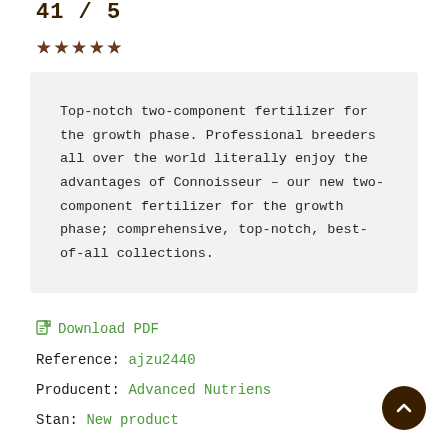41 / 5
[Figure (other): Five filled star rating icons in dark brown color]
Top-notch two-component fertilizer for the growth phase. Professional breeders all over the world literally enjoy the advantages of Connoisseur – our new two-component fertilizer for the growth phase; comprehensive, top-notch, best-of-all collections.
Download PDF
Reference: ajzu2440
Producent: Advanced Nutriens
Stan: New product